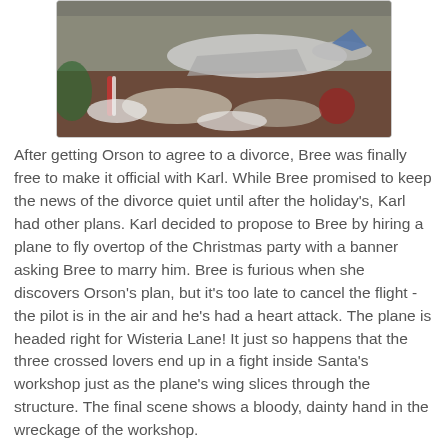[Figure (photo): Aerial or overhead view of a crashed or damaged airplane amid Christmas decorations and debris, including candy canes and white fabric/materials scattered around.]
After getting Orson to agree to a divorce, Bree was finally free to make it official with Karl. While Bree promised to keep the news of the divorce quiet until after the holiday's, Karl had other plans. Karl decided to propose to Bree by hiring a plane to fly overtop of the Christmas party with a banner asking Bree to marry him. Bree is furious when she discovers Orson's plan, but it's too late to cancel the flight - the pilot is in the air and he's had a heart attack. The plane is headed right for Wisteria Lane! It just so happens that the three crossed lovers end up in a fight inside Santa's workshop just as the plane's wing slices through the structure. The final scene shows a bloody, dainty hand in the wreckage of the workshop.
[Figure (photo): Close-up view of wooden structural debris or broken wooden beams, apparently wreckage from a workshop or structure.]